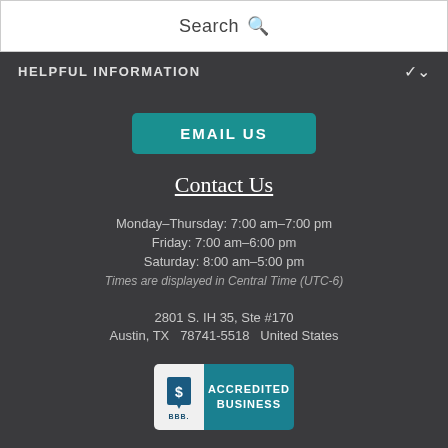Search
HELPFUL INFORMATION
EMAIL US
Contact Us
Monday–Thursday: 7:00 am–7:00 pm
Friday: 7:00 am–6:00 pm
Saturday: 8:00 am–5:00 pm
Times are displayed in Central Time (UTC-6)
2801 S. IH 35, Ste #170
Austin, TX   78741-5518   United States
[Figure (logo): BBB Accredited Business badge with blue background and white text]